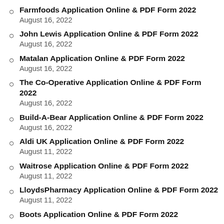Farmfoods Application Online & PDF Form 2022
August 16, 2022
John Lewis Application Online & PDF Form 2022
August 16, 2022
Matalan Application Online & PDF Form 2022
August 16, 2022
The Co-Operative Application Online & PDF Form 2022
August 16, 2022
Build-A-Bear Application Online & PDF Form 2022
August 16, 2022
Aldi UK Application Online & PDF Form 2022
August 11, 2022
Waitrose Application Online & PDF Form 2022
August 11, 2022
LloydsPharmacy Application Online & PDF Form 2022
August 11, 2022
Boots Application Online & PDF Form 2022